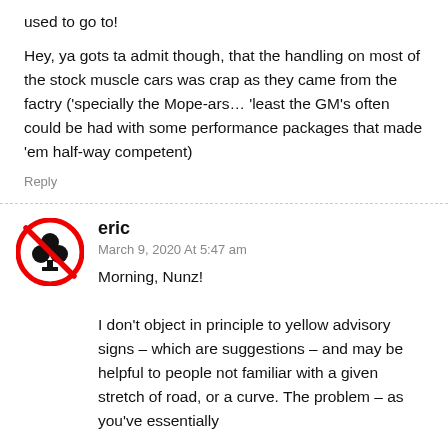used to go to!
Hey, ya gots ta admit though, that the handling on most of the stock muscle cars was crap as they came from the factry ('specially the Mope-ars… 'least the GM's often could be had with some performance packages that made 'em half-way competent)
Reply
eric
March 9, 2020 At 5:47 am
Morning, Nunz!
I don't object in principle to yellow advisory signs – which are suggestions – and may be helpful to people not familiar with a given stretch of road, or a curve. The problem – as you've essentially